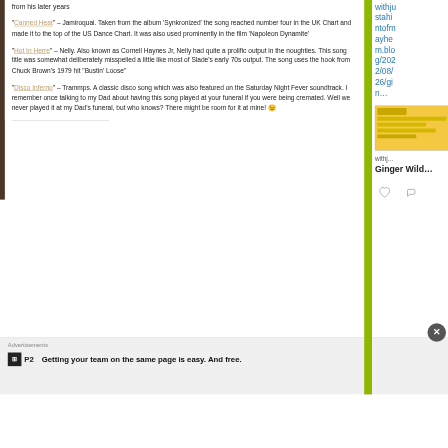from his later years
"Canned Heat" – Jamiroquai. Taken from the album 'Synkronized' the song reached number four in the UK Chart and made it to the top of the US Dance Chart. It was also used prominently in the film 'Napoleon Dynamite'
"Hot In Herre" – Nelly. Also known as Cornell Haynes Jr, Nelly had quite a prolific output in the noughties. This song title was somewhat deliberately misspelled a little like most of Slade's early 70s output. The song uses the hook from Chuck Brown's 1979 hit "Bustin' Loose"
"Disco Inferno" – Trammps. A classic disco song which was also featured on the Saturday Night Fever soundtrack. I remember once talking to my Dad about having this song played at your funeral if you were being cremated. Well we never played it at my Dad's funeral, but who knows? There might be room for it at mine! 😉
withjustahintofmayhem.blog/2022/08/26/gin…
[Figure (photo): Thumbnail image with yellow/orange background]
withj…
Ginger Wild…
Advertisements
Getting your team on the same page is easy. And free.